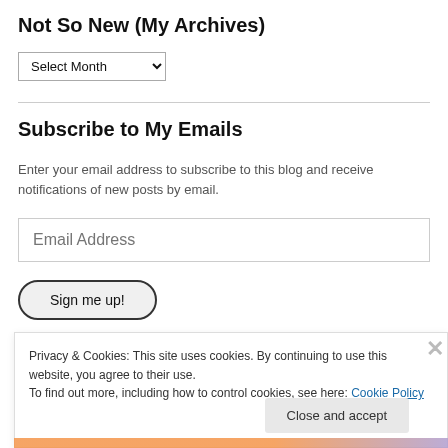Not So New (My Archives)
Select Month (dropdown)
Subscribe to My Emails
Enter your email address to subscribe to this blog and receive notifications of new posts by email.
Email Address (input field)
Sign me up! (button)
Privacy & Cookies: This site uses cookies. By continuing to use this website, you agree to their use.
To find out more, including how to control cookies, see here: Cookie Policy
Close and accept